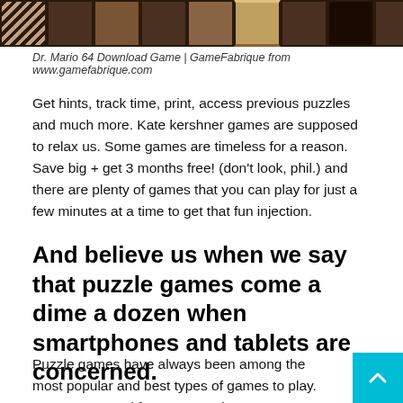[Figure (photo): Screenshot of Dr. Mario 64 game showing wooden tile/letter board game interface with dark brown and reddish tiles]
Dr. Mario 64 Download Game | GameFabrique from www.gamefabrique.com
Get hints, track time, print, access previous puzzles and much more. Kate kershner games are supposed to relax us. Some games are timeless for a reason. Save big + get 3 months free! (don't look, phil.) and there are plenty of games that you can play for just a few minutes at a time to get that fun injection.
And believe us when we say that puzzle games come a dime a dozen when smartphones and tablets are concerned.
Puzzle games have always been among the most popular and best types of games to play. Smart, easy and fun crossword